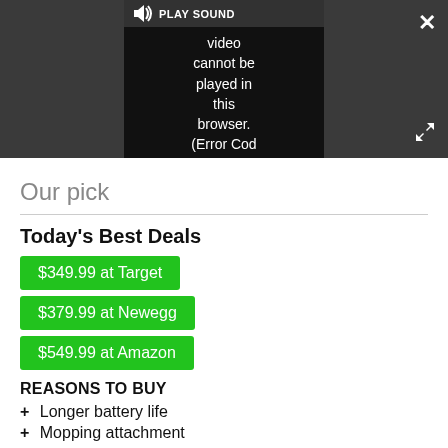[Figure (screenshot): Video player UI showing 'PLAY SOUND' button with speaker icon, video error message 'Video cannot be played in this browser. (Error Cod', close button (X) top right, expand button bottom right, all on dark gray background]
Our pick
Today's Best Deals
$349.99 at Target
$379.99 at Newegg
$549.99 at Amazon
REASONS TO BUY
+ Longer battery life
+ Mopping attachment